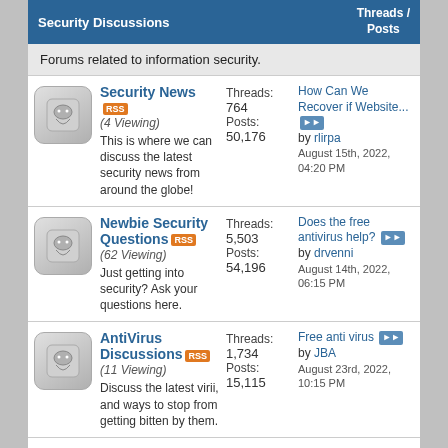Security Discussions | Threads / Posts
Forums related to information security.
Security News (4 Viewing) - Threads: 764, Posts: 50,176 - Last: How Can We Recover if Website... by rlirpa, August 15th, 2022, 04:20 PM
Newbie Security Questions (62 Viewing) - Threads: 5,503, Posts: 54,196 - Last: Does the free antivirus help? by drvenni, August 14th, 2022, 06:15 PM
AntiVirus Discussions (11 Viewing) - Threads: 1,734, Posts: 15,115 - Last: Free anti virus by JBA, August 23rd, 2022, 10:15 PM
IDS & Scanner Discussions (10 Viewing) - Threads: 559, Posts: 3,839 - Last: What is the Paint in... by rlirpa, March 12th, 2022, 11:47 PM